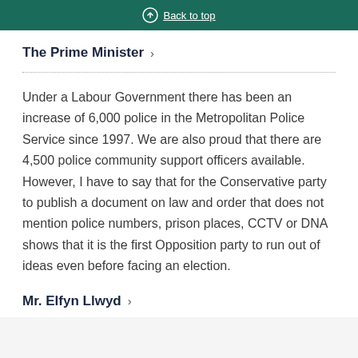Back to top
The Prime Minister
Under a Labour Government there has been an increase of 6,000 police in the Metropolitan Police Service since 1997. We are also proud that there are 4,500 police community support officers available. However, I have to say that for the Conservative party to publish a document on law and order that does not mention police numbers, prison places, CCTV or DNA shows that it is the first Opposition party to run out of ideas even before facing an election.
Mr. Elfyn Llwyd